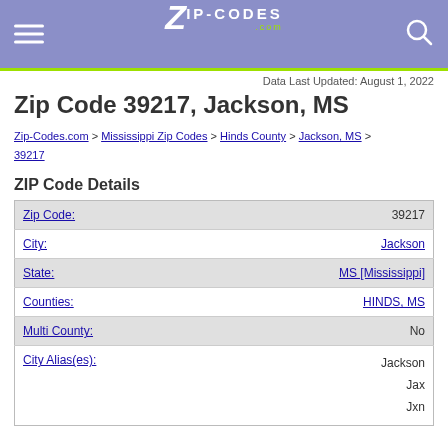Zip-Codes.com
Data Last Updated: August 1, 2022
Zip Code 39217, Jackson, MS
Zip-Codes.com > Mississippi Zip Codes > Hinds County > Jackson, MS > 39217
ZIP Code Details
| Field | Value |
| --- | --- |
| Zip Code: | 39217 |
| City: | Jackson |
| State: | MS [Mississippi] |
| Counties: | HINDS, MS |
| Multi County: | No |
| City Alias(es): | Jackson
Jax
Jxn |